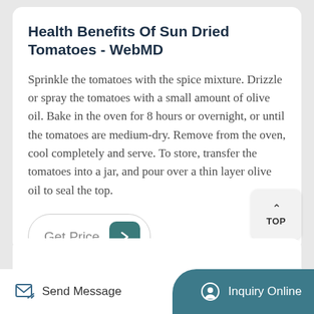Health Benefits Of Sun Dried Tomatoes - WebMD
Sprinkle the tomatoes with the spice mixture. Drizzle or spray the tomatoes with a small amount of olive oil. Bake in the oven for 8 hours or overnight, or until the tomatoes are medium-dry. Remove from the oven, cool completely and serve. To store, transfer the tomatoes into a jar, and pour over a thin layer olive oil to seal the top.
[Figure (screenshot): Get Price button with arrow icon]
[Figure (screenshot): TOP scroll-to-top button]
Send Message | Inquiry Online